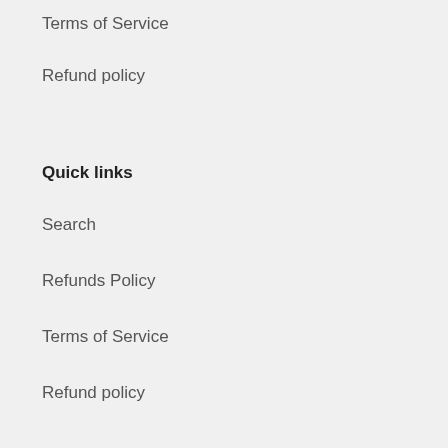Terms of Service
Refund policy
Quick links
Search
Refunds Policy
Terms of Service
Refund policy